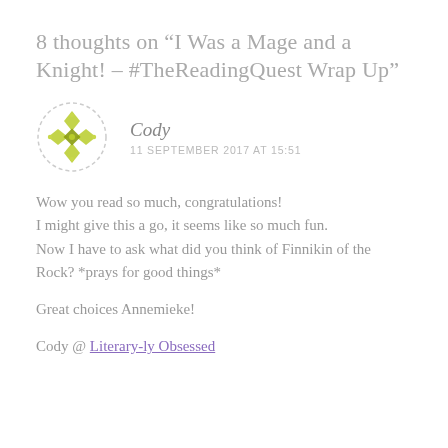8 thoughts on “I Was a Mage and a Knight! – #TheReadingQuest Wrap Up”
[Figure (illustration): Circular avatar icon with a geometric diamond/rhombus pattern made of yellow-green shapes on a white background with a light dashed circular border]
Cody
11 SEPTEMBER 2017 AT 15:51
Wow you read so much, congratulations!
I might give this a go, it seems like so much fun.
Now I have to ask what did you think of Finnikin of the Rock? *prays for good things*
Great choices Annemieke!
Cody @ Literary-ly Obsessed